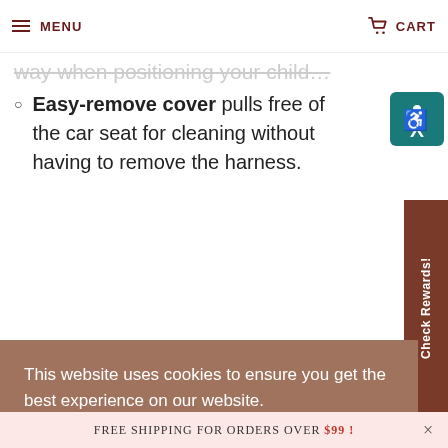MENU | CART
way when positioning your child...
Easy-remove cover pulls free of the car seat for cleaning without having to remove the harness.
ARB model - Steel Anti-Rebound
This website uses cookies to ensure you get the best experience on our website. Learn More
Got it!
FREE SHIPPING FOR ORDERS OVER $99!